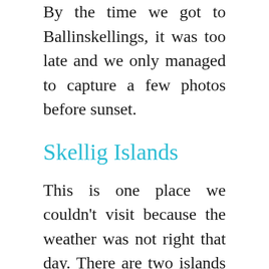By the time we got to Ballinskellings, it was too late and we only managed to capture a few photos before sunset.
Skellig Islands
This is one place we couldn't visit because the weather was not right that day. There are two islands namely the Skellig Michael Island and Little Skellig. These islands have become quite famous these days because the latest Star Wars